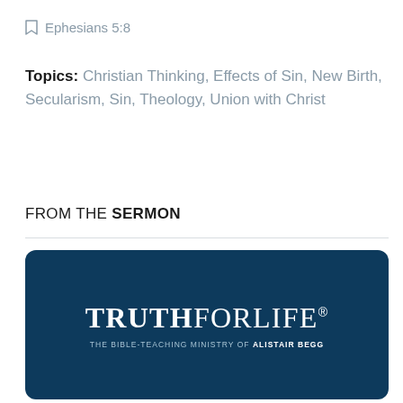Ephesians 5:8
Topics: Christian Thinking, Effects of Sin, New Birth, Secularism, Sin, Theology, Union with Christ
FROM THE SERMON
[Figure (logo): Truth for Life logo on dark navy blue background. Large serif text reads TRUTHFORLIFE with a registered trademark symbol. Below in smaller uppercase text: THE BIBLE-TEACHING MINISTRY OF ALISTAIR BEGG]